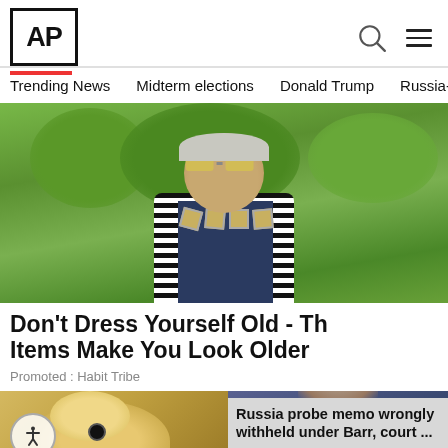[Figure (logo): AP (Associated Press) logo — bold black letters in white box with red underline]
Trending News   Midterm elections   Donald Trump   Russia-Ukr
[Figure (photo): Woman wearing sunglasses, striped cardigan, and large square necklace outdoors with green trees]
Don't Dress Yourself Old - Th Items Make You Look Older
Promoted : Habit Tribe
[Figure (photo): Close-up photo of a dog (appears to be a Yorkshire Terrier) with blond fur]
[Figure (photo): Overlay news card showing a man with glasses (Barr) with headline: Russia probe memo wrongly withheld under Barr, court ...]